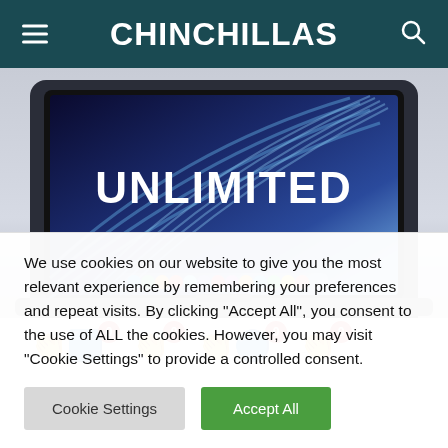CHINCHILLAS
[Figure (screenshot): MacBook laptop with blue abstract wallpaper and text 'UNLIMITED' displayed on screen, showing macOS dock at bottom]
[Figure (infographic): Four social reaction emoji buttons (clapping hands with blue/gold variants) each with a red badge showing '0']
We use cookies on our website to give you the most relevant experience by remembering your preferences and repeat visits. By clicking "Accept All", you consent to the use of ALL the cookies. However, you may visit "Cookie Settings" to provide a controlled consent.
Cookie Settings
Accept All